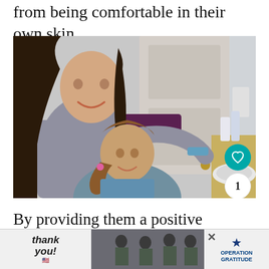from being comfortable in their own skin.
[Figure (photo): A teenage girl smiling and styling the hair of a younger girl in a bathroom. A sink and toiletry bottles are visible in the background.]
By providing them a positive relationship
a [partially visible text continuing]
[Figure (other): Advertisement banner for Operation Gratitude at the bottom of the page, with 'thank you!' text in cursive and an image of soldiers. A close button (X) is visible.]